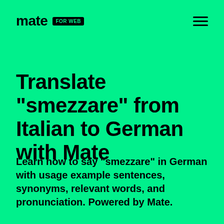mate FOR WEB
Translate "smezzare" from Italian to German with Mate
Learn how to say "smezzare" in German with usage example sentences, synonyms, relevant words, and pronunciation. Powered by Mate.